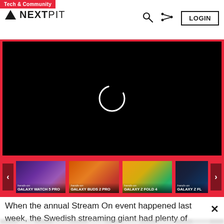Tech & Community — NEXTPIT — LOGIN
[Figure (screenshot): Black video player screen with white loading spinner circle in center]
[Figure (screenshot): Thumbnail strip carousel showing: GALAXY WATCH 5 PRO, GALAXY BUDS 2 PRO, GALAXY Z FOLD 4, GALAXY Z F(lip) — hands-on labels, left and right navigation arrows]
When the annual Stream On event happened last week, the Swedish streaming giant had plenty of